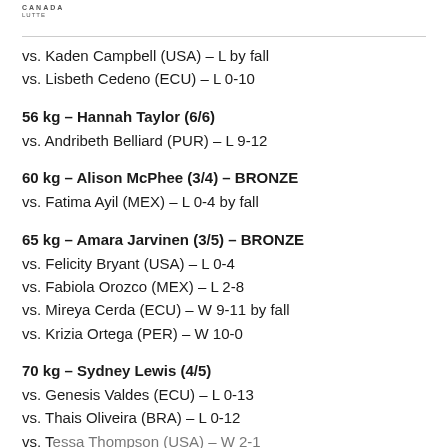CANADA LUTTE
vs. Kaden Campbell (USA) – L by fall
vs. Lisbeth Cedeno (ECU) – L 0-10
56 kg – Hannah Taylor (6/6)
vs. Andribeth Belliard (PUR) – L 9-12
60 kg – Alison McPhee (3/4) – BRONZE
vs. Fatima Ayil (MEX) – L 0-4 by fall
65 kg – Amara Jarvinen (3/5) – BRONZE
vs. Felicity Bryant (USA) – L 0-4
vs. Fabiola Orozco (MEX) – L 2-8
vs. Mireya Cerda (ECU) – W 9-11 by fall
vs. Krizia Ortega (PER) – W 10-0
70 kg – Sydney Lewis (4/5)
vs. Genesis Valdes (ECU) – L 0-13
vs. Thais Oliveira (BRA) – L 0-12
vs. Tessa Thompson (USA) – W 2-1